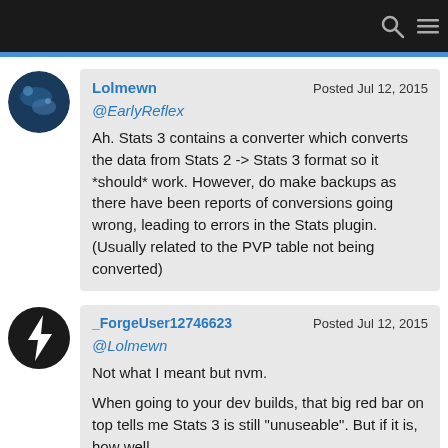Lolmewn — Posted Jul 12, 2015 — @EarlyReflex — Ah. Stats 3 contains a converter which converts the data from Stats 2 -> Stats 3 format so it *should* work. However, do make backups as there have been reports of conversions going wrong, leading to errors in the Stats plugin. (Usually related to the PVP table not being converted)
_ForgeUser12746623 — Posted Jul 12, 2015 — @Lolmewn — Not what I meant but nvm. When going to your dev builds, that big red bar on top tells me Stats 3 is still "unuseable". But if it is, how well